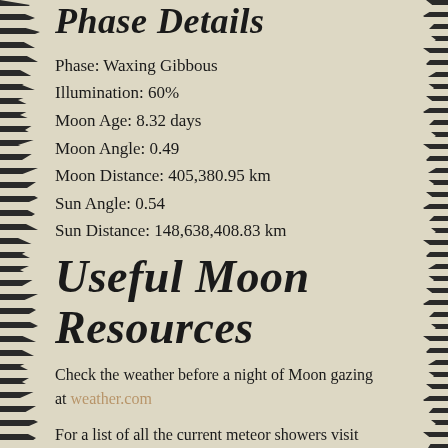Phase Details
Phase: Waxing Gibbous
Illumination: 60%
Moon Age: 8.32 days
Moon Angle: 0.49
Moon Distance: 405,380.95 km
Sun Angle: 0.54
Sun Distance: 148,638,408.83 km
Useful Moon Resources
Check the weather before a night of Moon gazing at weather.com
For a list of all the current meteor showers visit American Meteor Society